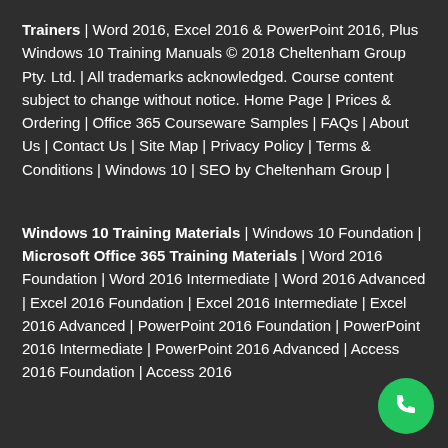Trainers | Word 2016, Excel 2016 & PowerPoint 2016, Plus Windows 10 Training Manuals © 2018 Cheltenham Group Pty. Ltd. | All trademarks acknowledged. Course content subject to change without notice. Home Page | Prices & Ordering | Office 365 Courseware Samples | FAQs | About Us | Contact Us | Site Map | Privacy Policy | Terms & Conditions | Windows 10 | SEO by Cheltenham Group |
Windows 10 Training Materials | Windows 10 Foundation | Microsoft Office 365 Training Materials | Word 2016 Foundation | Word 2016 Intermediate | Word 2016 Advanced | Excel 2016 Foundation | Excel 2016 Intermediate | Excel 2016 Advanced | PowerPoint 2016 Foundation | PowerPoint 2016 Intermediate | PowerPoint 2016 Advanced | Access 2016 Foundation | Access 2016